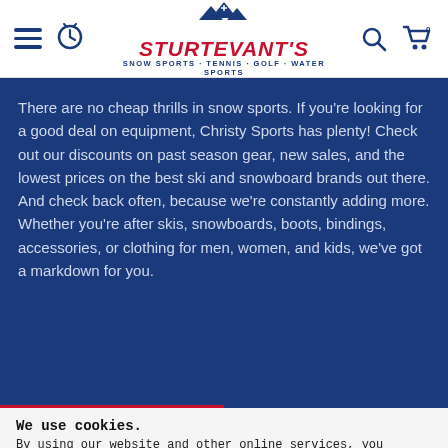Sturtevant's – Snow Sports · Tennis · Golf · Water Sports
There are no cheap thrills in snow sports. If you're looking for a good deal on equipment, Christy Sports has plenty! Check out our discounts on past season gear, new sales, and the lowest prices on the best ski and snowboard brands out there. And check back often, because we're constantly adding more. Whether you're after skis, snowboards, boots, bindings, accessories, or clothing for men, women, and kids, we've got a markdown for you.
We use cookies.
By using our website and other online services, you acknowledge that you understand and agree to our Privacy Policy and Terms & Conditions of Sale.
YES